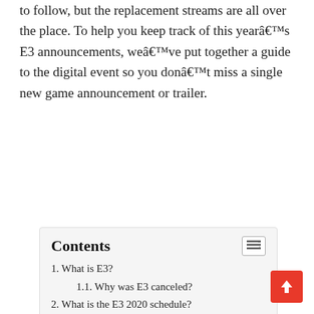to follow, but the replacement streams are all over the place. To help you keep track of this yearâ€™s E3 announcements, weâ€™ve put together a guide to the digital event so you donâ€™t miss a single new game announcement or trailer.
Contents
1. What is E3?
1.1. Why was E3 canceled?
2. What is the E3 2020 schedule?
2.1. IGNâ€™s Summer of Gaming
2.2. Guerrilla Collective
2.3. Indie Live Expo
2.4. PC Gaming Show
2.5. Future Games Show
2.6. Upload VR Showcase
2.7. The Escapist Indie Showcase
2.8. EA Play
2.9. Cyberpunk 2077 Night City Wire
2.10. New Game+ Expo